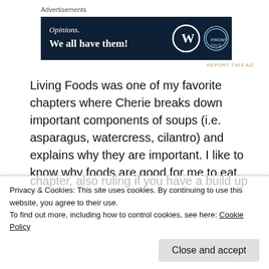Advertisements
[Figure (other): Advertisement banner: dark navy background with text 'Opinions. We all have them!' and WordPress/FrontPage logos on the right.]
REPORT THIS AD
Living Foods was one of my favorite chapters where Cherie breaks down important components of soups (i.e. asparagus, watercress, cilantro) and explains why they are important. I like to know why foods are good for me to eat, and I learned that rosemary, one of my favorite herbs, has the ability to improve mood, increases intelligence, boosts memory, and relives pain
Privacy & Cookies: This site uses cookies. By continuing to use this website, you agree to their use.
To find out more, including how to control cookies, see here: Cookie Policy
Close and accept
chapter, also ruling if you have a build up of toxicity;